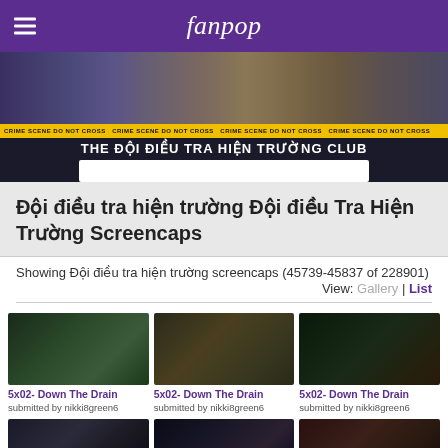fanpop
[Figure (screenshot): Fanpop club banner for 'The Đội Điều Tra Hiện Trường Club' showing cast members in a crime scene tape banner]
Đội điều tra hiện trường Đội điều Tra Hiện Trường Screencaps
Showing Đội điều tra hiện trường screencaps (45739-45837 of 228901)
View: Gallery | List
[Figure (screenshot): Screencap thumbnail 1 - 5x02 Down The Drain]
5x02- Down The Drain
submitted by nikki8green6
[Figure (screenshot): Screencap thumbnail 2 - 5x02 Down The Drain]
5x02- Down The Drain
submitted by nikki8green6
[Figure (screenshot): Screencap thumbnail 3 - 5x02 Down The Drain]
5x02- Down The Drain
submitted by nikki8green6
[Figure (screenshot): Screencap thumbnail 4 - row 2]
[Figure (screenshot): Screencap thumbnail 5 - row 2]
[Figure (screenshot): Screencap thumbnail 6 - row 2]